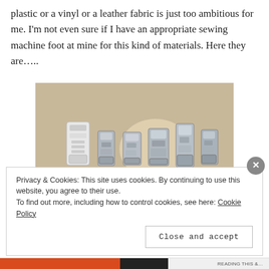plastic or a vinyl or a leather fabric is just too ambitious for me. I'm not even sure if I have an appropriate sewing machine foot at mine for this kind of materials. Here they are…..
[Figure (photo): A photo showing several sewing machine presser feet lined up on a beige/tan surface. The feet include one white/plastic foot on the left and several silver/metal feet of various styles to the right.]
Privacy & Cookies: This site uses cookies. By continuing to use this website, you agree to their use.
To find out more, including how to control cookies, see here: Cookie Policy
Close and accept